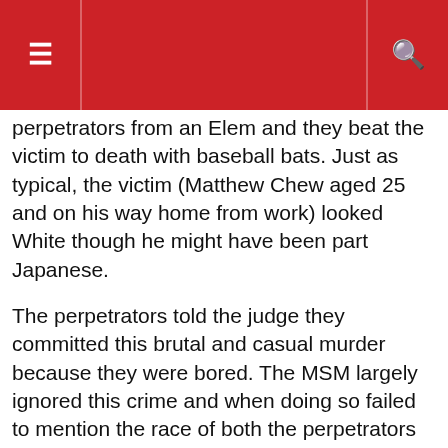☰  [navigation bar]  🔍
perpetrators from an Elem and they beat the victim to death with baseball bats. Just as typical, the victim (Matthew Chew aged 25 and on his way home from work) looked White though he might have been part Japanese.
The perpetrators told the judge they committed this brutal and casual murder because they were bored. The MSM largely ignored this crime and when doing so failed to mention the race of both the perpetrators and the victim. Again, nothing unusual about that, nor in the fact that the Media omitted 'race' in reports, nor in the failure of prosecutors to class this a Hate Crime. If the victim had been Black and the perpetrators White, the MSM would have made this front page news for weeks, we would have been endlessly reminded that racism is still